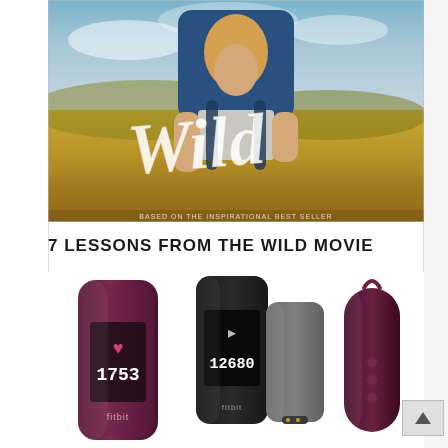[Figure (photo): Movie poster for 'Wild' showing a woman with a large backpack hiking in a field, with the title 'Wild' in handwritten script across the center, and a tagline at the bottom]
7 LESSONS FROM THE WILD MOVIE
[Figure (photo): Product photo showing three Fitbit fitness tracker devices: a burgundy/plum colored Fitbit One showing '1753' steps on the left, a dark gray Fitbit One showing '12680' steps in the center with its charging dock, and a burgundy Fitbit clip accessory on the right]